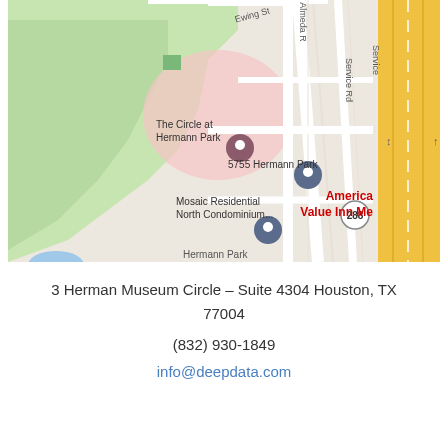[Figure (map): Google Maps screenshot showing the area around 5755 Hermann Park, Houston TX. Shows The Circle at Hermann Park, Mosaic Residential North Condominium, Service Rd, Highway 288, and America Value Inn Me label in red. Green park area on left, yellow highway on right.]
3 Herman Museum Circle – Suite 4304 Houston, TX 77004
(832) 930-1849
info@deepdata.com